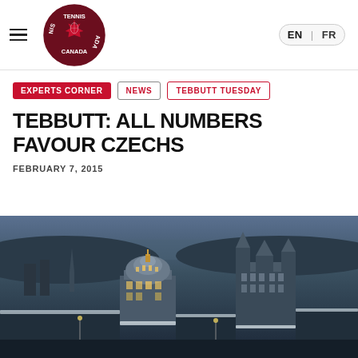Tennis Canada — EN / FR language switcher, hamburger menu
EXPERTS CORNER
NEWS
TEBBUTT TUESDAY
TEBBUTT: ALL NUMBERS FAVOUR CZECHS
FEBRUARY 7, 2015
[Figure (photo): Aerial winter cityscape at dusk showing snow-covered rooftops with illuminated historic buildings including a prominent domed structure and chateau-style hotel in the background, likely Quebec City]